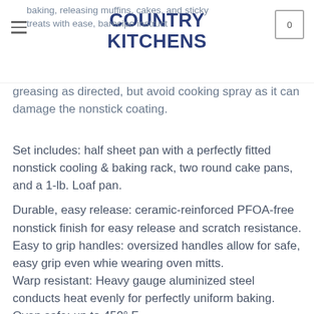COUNTRY KITCHENS
baking, releasing muffins, cakes, and sticky treats with ease, ba... greasing as directed, but avoid cooking spray as it can damage the nonstick coating.
Set includes: half sheet pan with a perfectly fitted nonstick cooling & baking rack, two round cake pans, and a 1-lb. Loaf pan.
Durable, easy release: ceramic-reinforced PFOA-free nonstick finish for easy release and scratch resistance.
Easy to grip handles: oversized handles allow for safe, easy grip even whie wearing oven mitts.
Warp resistant: Heavy gauge aluminized steel conducts heat evenly for perfectly uniform baking.
Oven safe: up to 450° F.
[ad_2]